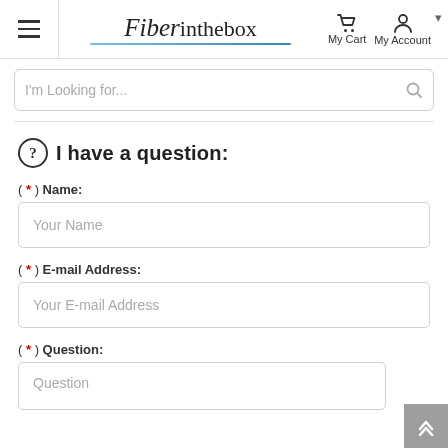Fiberinthebox — My Cart   My Account
I'm Looking for...
I have a question:
( * ) Name:
Your Name
( * ) E-mail Address:
Your E-mail Address
( * ) Question:
Question